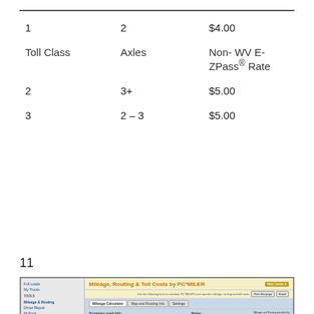| Toll Class | Axles | Non-WV E-ZPass® Rate |
| --- | --- | --- |
| 1 | 2 | $4.00 |
| 2 | 3+ | $5.00 |
| 3 | 2 – 3 | $5.00 |
11
[Figure (screenshot): Screenshot of PC*MILER Mileage, Routing & Toll Costs web tool showing a route from Chicago, IL to Miami, FL with a YouTube play button overlay and a map of the eastern United States]